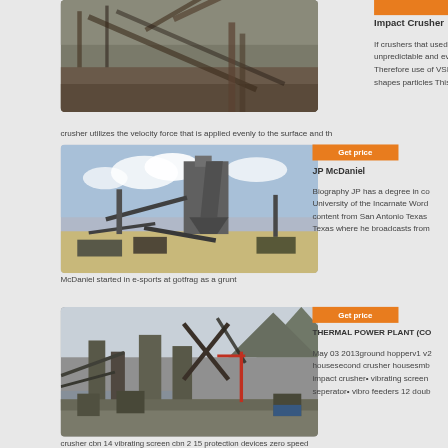[Figure (photo): Industrial crusher machinery at a quarry/mining site with conveyor belts and steel structures]
Impact Crusher
If crushers that used pressure fo unpredictable and even more un Therefore use of VSI crusher res shapes particles This is so becau crusher utilizes the velocity force that is applied evenly to the surface and th
[Figure (photo): Large industrial crushing plant in an open field with blue sky, showing cone crusher and conveyors]
Get price
JP McDaniel
Biography JP has a degree in co University of the Incarnate Word content from San Antonio Texas Texas where he broadcasts from McDaniel started in e-sports at gotfrag as a grunt
[Figure (photo): Large thermal power plant construction site with cranes, conveyors, and industrial equipment near a mountain]
Get price
THERMAL POWER PLANT (CO
May 03 2013ground hopperv1 v2 housesecond crusher housesmb impact crusher• vibrating screen seperator• vibro feeders 12 doub crusher cbn 14 vibrating screen cbn 2 15 protection devices zero speed